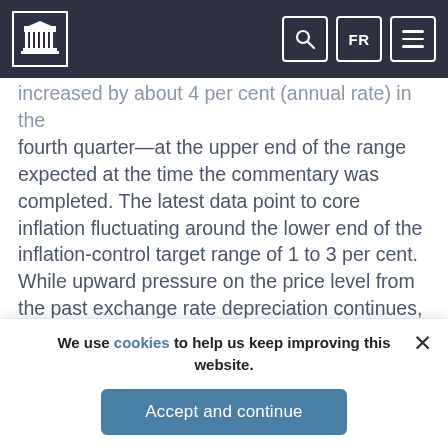Bank of Canada navigation bar with logo, search, FR language toggle, and menu button
increased by about 4 per cent (annual rate) in the fourth quarter—at the upper end of the range expected at the time the commentary was completed. The latest data point to core inflation fluctuating around the lower end of the inflation-control target range of 1 to 3 per cent. While upward pressure on the price level from the past exchange rate depreciation continues, the dampening effects of ongoing intense retail competition, excess supply in product markets, and restrained unit labour costs have kept overall inflation somewhat below expectations. Improved financial market conditions, coupled with the general firmness of recent domestic economic data and a slightly more favourable outlook for commodity prices,
We use cookies to help us keep improving this website.
Accept and continue